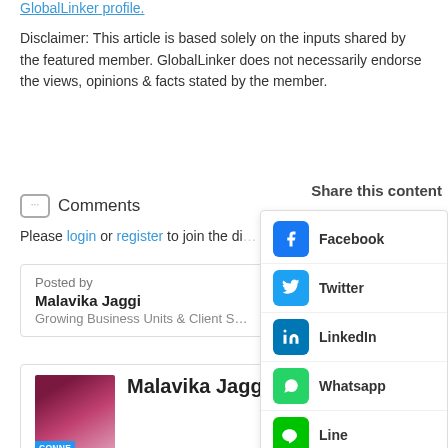GlobalLinker profile.
Disclaimer: This article is based solely on the inputs shared by the featured member. GlobalLinker does not necessarily endorse the views, opinions & facts stated by the member.
Comments
Please login or register to join the di...
Posted by
Malavika Jaggi
Growing Business Units & Client S...
Malavika Jaggi
Director - SMEs and Partners
GlobalLinker | Mumbai, India
Share this content
Facebook
Twitter
LinkedIn
Whatsapp
Line
Copy link